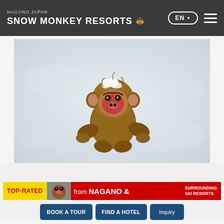NAGANO JAPAN SNOW MONKEY RESORTS
[Figure (photo): A young Japanese macaque (snow monkey) running through snow, facing the camera, with snow on its head and brown fur. Snow-covered white ground background.]
[Figure (infographic): Red banner with yellow TOP-RATED label on left, small monkey face image, then white text reading 'from NAGANO & SURROUNDING SKI RESORTS']
BOOK A TOUR
FIND A HOTEL
Inquiry